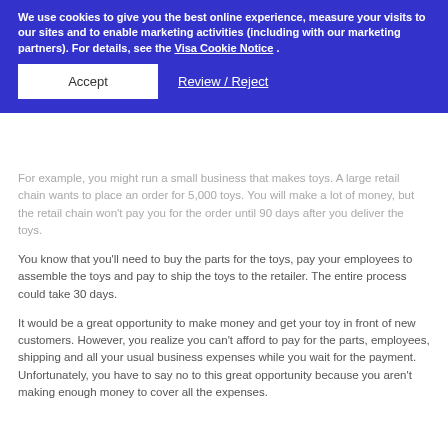We use cookies to give you the best online experience, measure your visits to our sites and to enable marketing activities (including with our marketing partners). For details, see the Visa Cookie Notice .
Accept | Review / Reject
For example, you might run a small business that makes toys. A large retail chain wants to place an order for 5,000 toys. You will make a lot of money, but the retail chain won't pay you for the order until 90 days after you deliver the toys.
You know that you'll need to buy the parts for the toys, pay your employees to assemble the toys and pay to ship the toys to the retailer. The entire process could take 30 days.
It would be a great opportunity to make money and get your toy in front of new customers. However, you realize you can't afford to pay for the parts, employees, shipping and all your usual business expenses while you wait for the payment. Unfortunately, you have to say no to this great opportunity because you aren't making enough money to cover all the expenses.